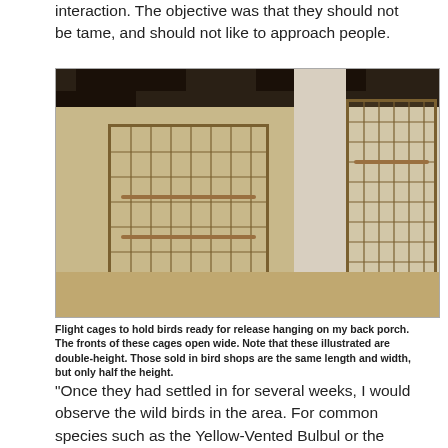interaction. The objective was that they should not be tame, and should not like to approach people.
[Figure (photo): Flight cages hanging on a back porch. Two large wire mesh cages with open fronts, mounted on a white column and wall. Dark wooden ceiling beams visible above.]
Flight cages to hold birds ready for release hanging on my back porch. The fronts of these cages open wide. Note that these illustrated are double-height. Those sold in bird shops are the same length and width, but only half the height.
“Once they had settled in for several weeks, I would observe the wild birds in the area. For common species such as the Yellow-Vented Bulbul or the Javan Mynah, there would usually be resident pairs in most areas. The males of these pairs would come up to the here and challenge the birds in the cages...